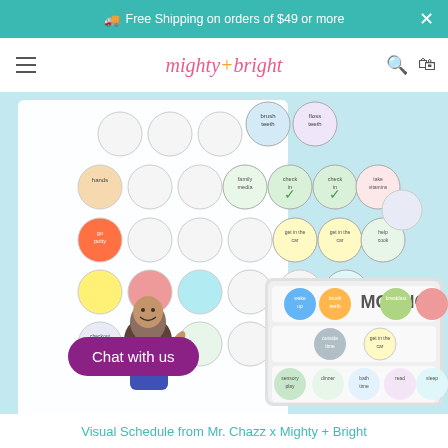Free Shipping on orders of $49 or more
[Figure (screenshot): Mighty + Bright website header with hamburger menu, logo, search and bag icons]
[Figure (photo): Visual Schedule product photo showing colorful round activity stickers/magnets on a schedule board, with a cartoon character (Mr. Chazz) and a Chat with us button overlay]
Visual Schedule from Mr. Chazz x Mighty + Bright